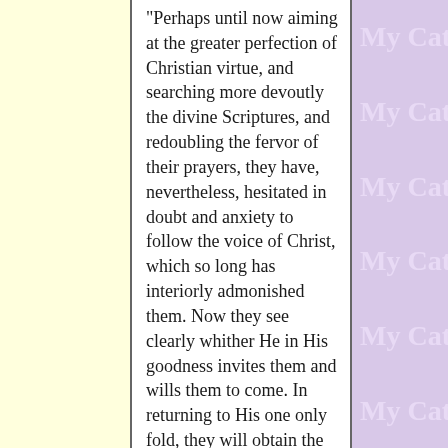"Perhaps until now aiming at the greater perfection of Christian virtue, and searching more devoutly the divine Scriptures, and redoubling the fervor of their prayers, they have, nevertheless, hesitated in doubt and anxiety to follow the voice of Christ, which so long has interiorly admonished them. Now they see clearly whither He in His goodness invites them and wills them to come. In returning to His one only fold, they will obtain the blessings which they seek, and the consequent helps to salvation, of which He has made the Church the dispenser, and, as it were, the constant guardian and promoter of His
My Catho
My Catho
My Catho
My Catho
My Catho
My Catho